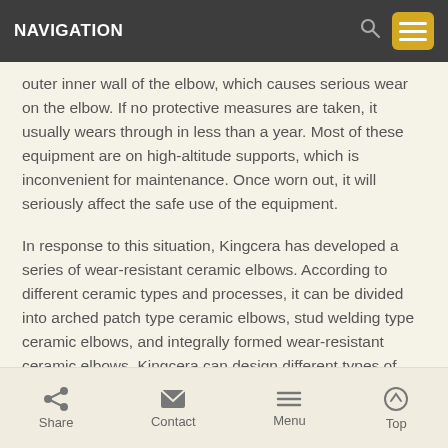NAVIGATION
outer inner wall of the elbow, which causes serious wear on the elbow. If no protective measures are taken, it usually wears through in less than a year. Most of these equipment are on high-altitude supports, which is inconvenient for maintenance. Once worn out, it will seriously affect the safe use of the equipment.
In response to this situation, Kingcera has developed a series of wear-resistant ceramic elbows. According to different ceramic types and processes, it can be divided into arched patch type ceramic elbows, stud welding type ceramic elbows, and integrally formed wear-resistant ceramic elbows. Kingcera can design different types of wear-resistant ceramic elbows according to different working conditions of applications, and the operating temperature range is -50°C-750°C.
Share  Contact  Menu  Top